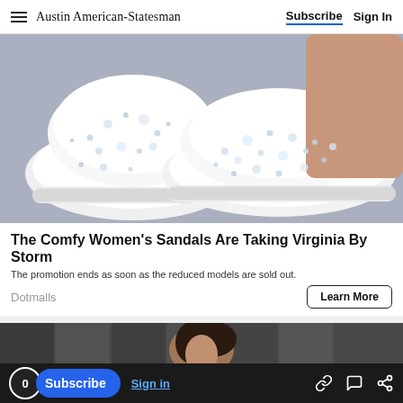Austin American-Statesman | Subscribe | Sign In
[Figure (photo): Close-up photo of white bedazzled slip-on sneakers with rhinestone embellishments on a gray background, showing two shoes from the side/front angle with a person's foot/ankle visible.]
The Comfy Women's Sandals Are Taking Virginia By Storm
The promotion ends as soon as the reduced models are sold out.
Dotmalls
Learn More
[Figure (photo): Partial view of a woman with dark hair smiling, bottom portion of page, dark gray background.]
0 | Subscribe | Sign in